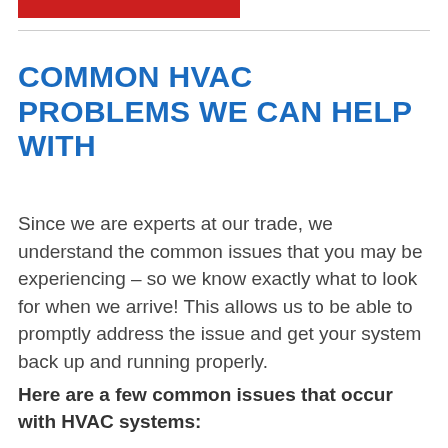COMMON HVAC PROBLEMS WE CAN HELP WITH
Since we are experts at our trade, we understand the common issues that you may be experiencing – so we know exactly what to look for when we arrive! This allows us to be able to promptly address the issue and get your system back up and running properly.
Here are a few common issues that occur with HVAC systems: